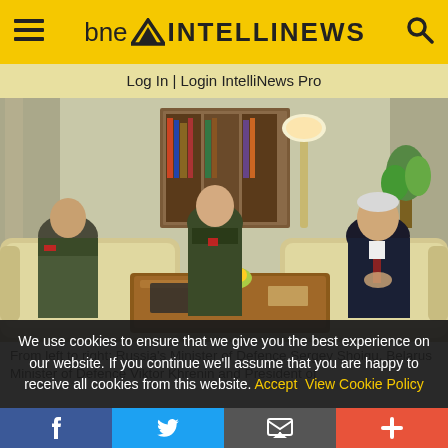bne INTELLINEWS
Log In | Login IntelliNews Pro
[Figure (photo): Three men seated in ornate chairs around a wooden coffee table in an official reception room. Two men on the left wear Russian military olive-green uniforms, one man on the right wears a dark business suit. The room has curtains, bookshelves, a lamp, and a plant.]
From left to right: Russia's Minister of Defence Sergey Shoigu, Belarus Minister of Defence Viktor Khrenin and President of
We use cookies to ensure that we give you the best experience on our website. If you continue we'll assume that you are happy to receive all cookies from this website. Accept  View Cookie Policy